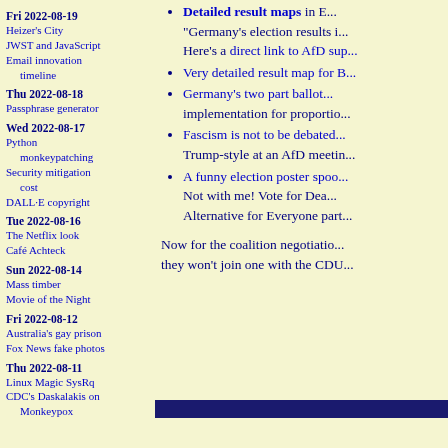Fri 2022-08-19
Heizer's City
JWST and JavaScript
Email innovation timeline
Thu 2022-08-18
Passphrase generator
Wed 2022-08-17
Python monkeypatching
Security mitigation cost
DALL·E copyright
Tue 2022-08-16
The Netflix look
Café Achteck
Sun 2022-08-14
Mass timber
Movie of the Night
Fri 2022-08-12
Australia's gay prison
Fox News fake photos
Thu 2022-08-11
Linux Magic SysRq
CDC's Daskalakis on Monkeypox
Detailed result maps in E... "Germany's election results i... Here's a direct link to AfD sup...
Very detailed result map for B...
Germany's two part ballot... implementation for proportio...
Fascism is not to be debated... Trump-style at an AfD meetin...
A funny election poster spoo... Not with me! Vote for Dea... Alternative for Everyone part...
Now for the coalition negotiatio... they won't join one with the CDU...